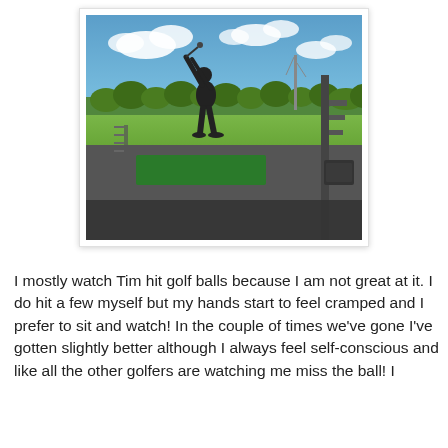[Figure (photo): A photograph taken at a golf driving range. A person is shown in silhouette completing a golf swing on a green mat tee box. The background shows a wide open grassy range under a blue sky with white clouds. There is a metal support structure to the right and safety netting to the left.]
I mostly watch Tim hit golf balls because I am not great at it. I do hit a few myself but my hands start to feel cramped and I prefer to sit and watch! In the couple of times we've gone I've gotten slightly better although I always feel self-conscious and like all the other golfers are watching me miss the ball! I